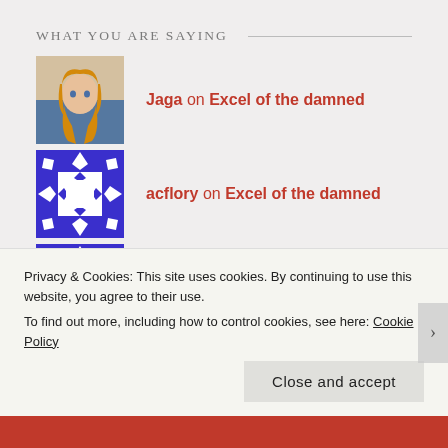WHAT YOU ARE SAYING
Jaga on Excel of the damned
acflory on Excel of the damned
acflory on Someone killed the world…
wordsfromanneli on Do Something – how to ge…
Matt Bowne on The doldrums of writing
Privacy & Cookies: This site uses cookies. By continuing to use this website, you agree to their use.
To find out more, including how to control cookies, see here: Cookie Policy
Close and accept